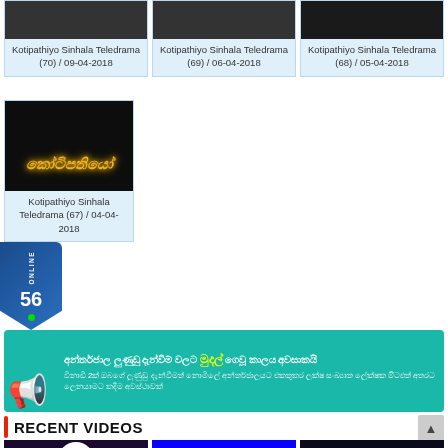[Figure (screenshot): Grid of Kotipathiyo Sinhala Teledrama episode thumbnails (episodes 70, 69, 68, 67) with dark video thumbnails and light blue card backgrounds showing episode titles and dates]
Kotipathiyo Sinhala Teledrama (70) / 09-04-2018
Kotipathiyo Sinhala Teledrama (69) / 06-04-2018
Kotipathiyo Sinhala Teledrama (68) / 05-04-2018
Kotipathiyo Sinhala Teledrama (67) / 04-04-2018
[Figure (infographic): Teal advertisement banner with megaphone icon and Sinhala text about internet registration deadline]
RECENT VIDEOS
[Figure (screenshot): Three video thumbnails at bottom: Dialog Raigama Norana show, Damal 12.00 news, and Sirasa TV show]